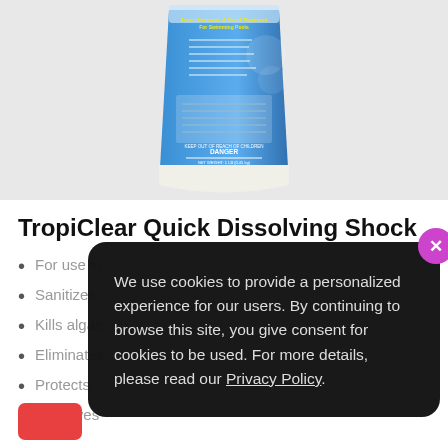[Figure (photo): Back of a blue pool shock treatment bag (TropiClear Quick Dissolving Shock) showing product label text, ingredients, danger warning, and net weight. The bag is photographed at a slight angle against a light gray background.]
TropiClear Quick Dissolving Shock
For use in
Sanitizes
Kills algae
Eliminates
Protects
Dissolves
We use cookies to provide a personalized experience for our users. By continuing to browse this site, you give consent for cookies to be used. For more details, please read our Privacy Policy.